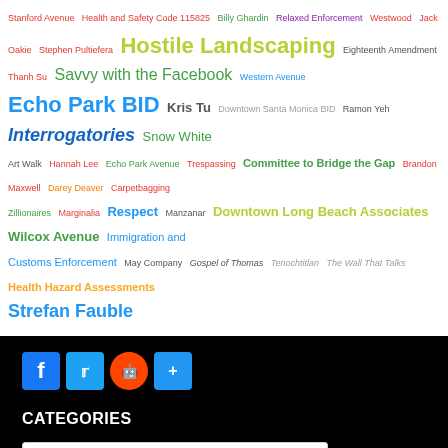Stanford Avenue Health and Safety Code 115825 Billy Ghardin Relaxed Enforcement Westwood Jack Oakie Stephen Pultiefera Hostile Landscaping Eighteenth Amendment Thanh Su Savvy with the Facebook Western Avenue Echo Park BID Kris Tu Downtown Santa Monica BID Ramon Yeh Interrogatories Snow White Art Walk Hannah Lee Echo Park Avenue Trespassing Committee to Bridge the Gap Brandon Maxwell Darey Deaver Carpetbagging Zillionaires Marginalia Respect Manzanar Downtown Long Beach Associates Wilcox Avenue Immigration and Customs Enforcement May Company Gospel of Thomas Tenochtitlan The Wall That Talks Health Hazard Assessments Strefan Fauble
[Figure (other): Social sharing buttons: Facebook, Twitter, Reddit, Share]
CATEGORIES
[Figure (other): Select Category dropdown]
WE'RE ON TWITTER!